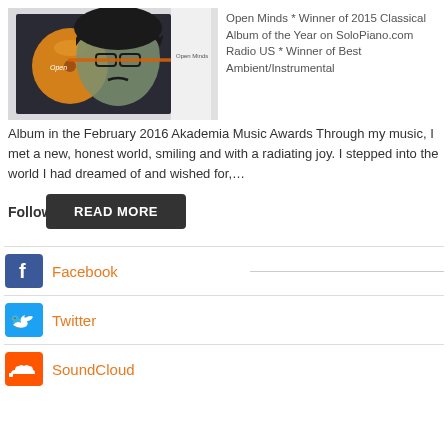[Figure (photo): Album CD and case cover for 'Open Minds' showing stylized face artwork with glasses]
Open Minds * Winner of 2015 Classical Album of the Year on SoloPiano.com Radio US * Winner of Best Ambient/Instrumental Album in the February 2016 Akademia Music Awards Through my music, I met a new, honest world, smiling and with a radiating joy. I stepped into the world I had dreamed of and wished for,…
READ MORE
Follow
Facebook
Twitter
SoundCloud